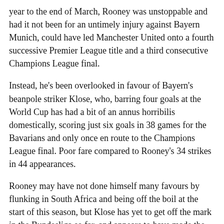year to the end of March, Rooney was unstoppable and had it not been for an untimely injury against Bayern Munich, could have led Manchester United onto a fourth successive Premier League title and a third consecutive Champions League final.
Instead, he's been overlooked in favour of Bayern's beanpole striker Klose, who, barring four goals at the World Cup has had a bit of an annus horribilis domestically, scoring just six goals in 38 games for the Bavarians and only once en route to the Champions League final. Poor fare compared to Rooney's 34 strikes in 44 appearances.
Rooney may have not done himself many favours by flunking in South Africa and being off the boil at the start of this season, but Klose has yet to get off the mark in the Bundesliga so far, and appears to have made the draft on the back of a handful of decent showings which were exposed to a wider media glare.
The same could be said of compatriots Mesut Ozil, who